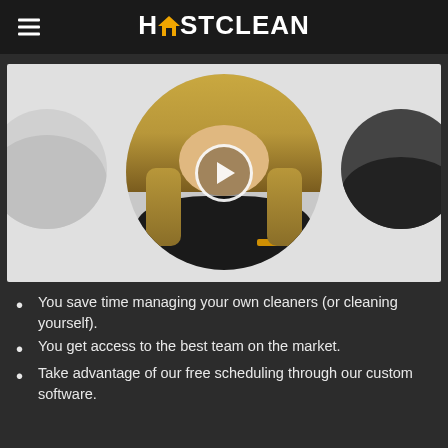HOSTCLEAN
[Figure (photo): Video thumbnail showing a blonde woman in a black HostClean uniform with a play button overlay. Two partially visible circular portrait photos on the left and right sides.]
You save time managing your own cleaners (or cleaning yourself).
You get access to the best team on the market.
Take advantage of our free scheduling through our custom software.